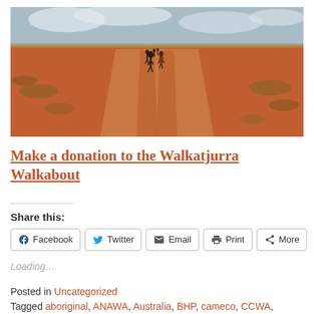[Figure (photo): People walking along a red dirt road through the Australian outback desert landscape, with red sandy soil, sparse scrubby vegetation, and a partly cloudy sky. The photo is taken from behind the walkers.]
Make a donation to the Walkatjurra Walkabout
Share this:
Facebook  Twitter  Email  Print  More
Loading...
Posted in Uncategorized
Tagged aboriginal, ANAWA, Australia, BHP, cameco, CCWA,